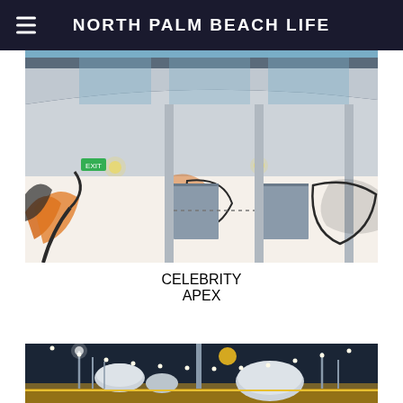NORTH PALM BEACH LIFE
[Figure (photo): Exterior view of cruise ship deck showing colorful mural artwork with floral and abstract designs, multiple deck levels visible, lit interior spaces, nighttime photography]
CELEBRITY APEX
[Figure (photo): Nighttime photo of cruise ship top deck showing radar dome, antennas, mast with dotted light string, golden glowing upper deck railing]